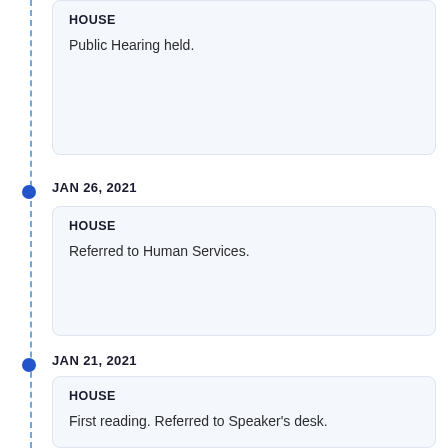HOUSE
Public Hearing held.
JAN 26, 2021
HOUSE
Referred to Human Services.
JAN 21, 2021
HOUSE
First reading. Referred to Speaker's desk.